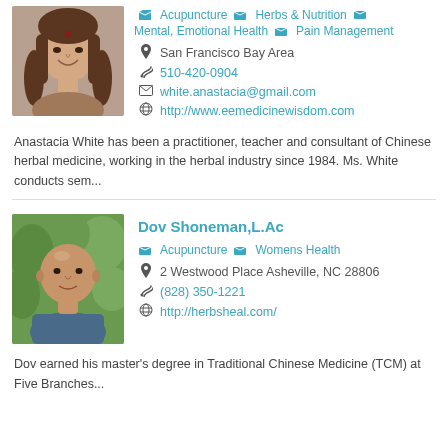[Figure (photo): Portrait photo of Anastacia White, a woman with long brown hair, smiling]
Acupuncture  Herbs & Nutrition  Mental, Emotional Health  Pain Management
San Francisco Bay Area
510-420-0904
white.anastacia@gmail.com
http://www.eemedicinewisdom.com
Anastacia White has been a practitioner, teacher and consultant of Chinese herbal medicine, working in the herbal industry since 1984. Ms. White conducts sem...
[Figure (photo): Portrait photo of Dov Shoneman, a bald man outdoors with green foliage background]
Dov Shoneman,L.Ac
Acupuncture  Womens Health
2 Westwood Place Asheville, NC 28806
(828) 350-1221
http://herbsheal.com/
Dov earned his master's degree in Traditional Chinese Medicine (TCM) at Five Branches...